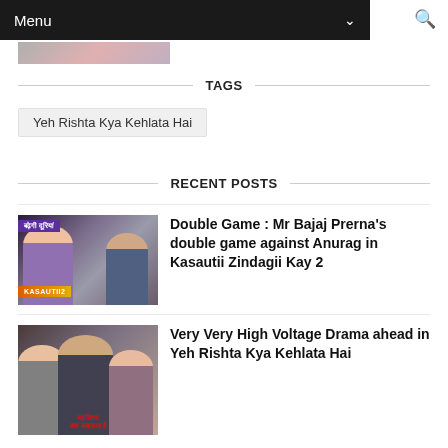Menu
[Figure (photo): Partial cropped image of TV show characters at the top of the page]
TAGS
Yeh Rishta Kya Kehlata Hai
RECENT POSTS
[Figure (photo): Thumbnail image for Kasautii Zindagii Kay 2 article showing cast members with purple and orange show branding]
Double Game : Mr Bajaj Prerna's double game against Anurag in Kasautii Zindagii Kay 2
[Figure (photo): Thumbnail image for Yeh Rishta Kya Kehlata Hai article showing cast members with Rishta show branding]
Very Very High Voltage Drama ahead in Yeh Rishta Kya Kehlata Hai